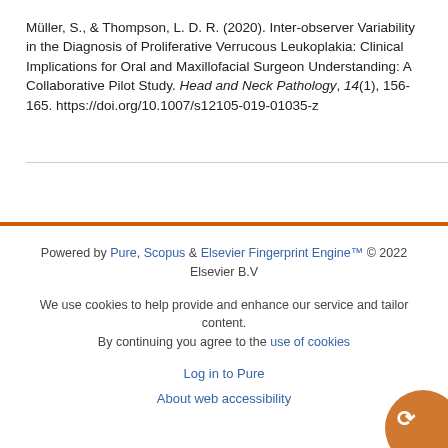Müller, S., & Thompson, L. D. R. (2020). Inter-observer Variability in the Diagnosis of Proliferative Verrucous Leukoplakia: Clinical Implications for Oral and Maxillofacial Surgeon Understanding: A Collaborative Pilot Study. Head and Neck Pathology, 14(1), 156-165. https://doi.org/10.1007/s12105-019-01035-z
Powered by Pure, Scopus & Elsevier Fingerprint Engine™ © 2022 Elsevier B.V
We use cookies to help provide and enhance our service and tailor content. By continuing you agree to the use of cookies
Log in to Pure
About web accessibility